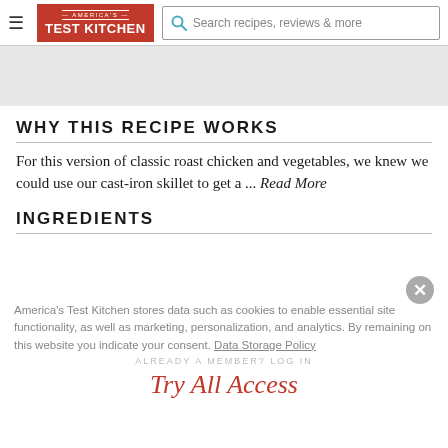America's Test Kitchen — Search recipes, reviews & more
WHY THIS RECIPE WORKS
For this version of classic roast chicken and vegetables, we knew we could use our cast-iron skillet to get a ... Read More
INGREDIENTS
America's Test Kitchen stores data such as cookies to enable essential site functionality, as well as marketing, personalization, and analytics. By remaining on this website you indicate your consent. Data Storage Policy
ALREADY A MEMBER? LOG IN
Try All Access